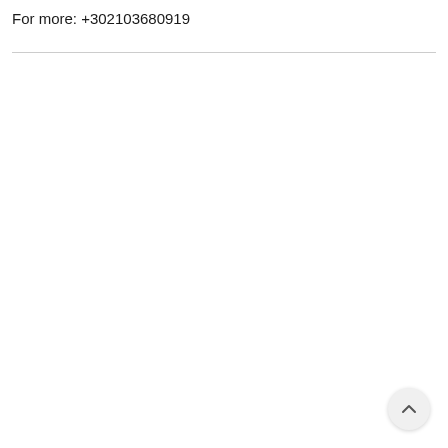For more: +302103680919
[Figure (other): Scroll-to-top circular button with an upward chevron arrow icon, positioned at the bottom-right corner of the page.]